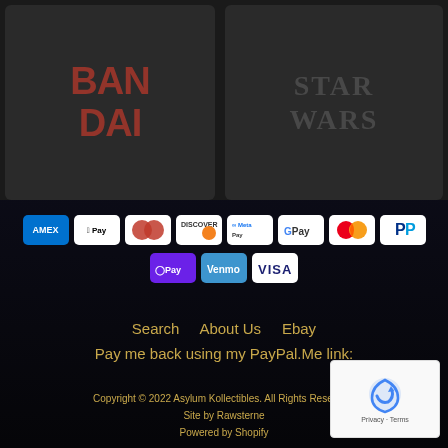[Figure (photo): Bandai logo product image on dark background]
[Figure (logo): Star Wars logo on dark grey background]
[Figure (other): Payment method icons: American Express, Apple Pay, Diners Club, Discover, Meta Pay, Google Pay, Mastercard, PayPal, O Pay, Venmo, Visa]
Search    About Us    Ebay
Pay me back using my PayPal.Me link:
Copyright © 2022 Asylum Kollectibles. All Rights Reserved.
Site by Rawsterne
Powered by Shopify